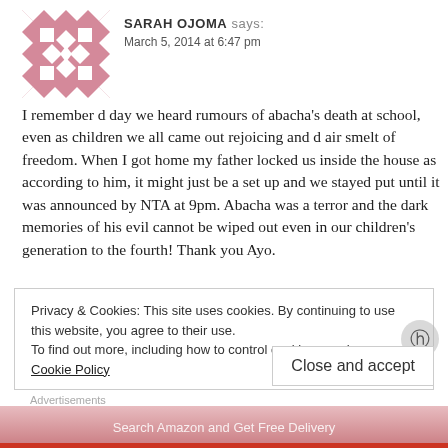[Figure (illustration): Pink and white geometric quilt-pattern avatar icon]
SARAH OJOMA says: March 5, 2014 at 6:47 pm
I remember d day we heard rumours of abacha's death at school, even as children we all came out rejoicing and d air smelt of freedom. When I got home my father locked us inside the house as according to him, it might just be a set up and we stayed put until it was announced by NTA at 9pm. Abacha was a terror and the dark memories of his evil cannot be wiped out even in our children's generation to the fourth! Thank you Ayo.
Privacy & Cookies: This site uses cookies. By continuing to use this website, you agree to their use.
To find out more, including how to control cookies, see here: Cookie Policy